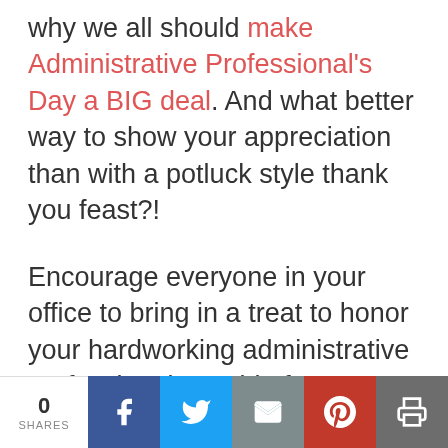why we all should make Administrative Professional's Day a BIG deal. And what better way to show your appreciation than with a potluck style thank you feast?!
Encourage everyone in your office to bring in a treat to honor your hardworking administrative professionals.  Aside from amazing home-cooked food, the keys to any appreciation event are participation, planning, and socialization. When
0 SHARES | Facebook | Twitter | Email | Pinterest | Print